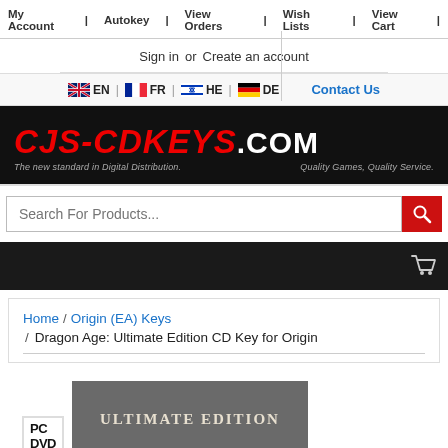My Account | Autokey | View Orders | Wish Lists | View Cart
Sign in or Create an account
[Figure (screenshot): Language selector with flags: EN (UK), FR (France), HE (Israel), DE (Germany) and Contact Us link]
[Figure (logo): cjs-cdkeys.com logo in red on black background with tagline: The new standard in Digital Distribution. Quality Games, Quality Service.]
Search For Products...
Home / Origin (EA) Keys / Dragon Age: Ultimate Edition CD Key for Origin
[Figure (screenshot): PC DVD box and Ultimate Edition product image]